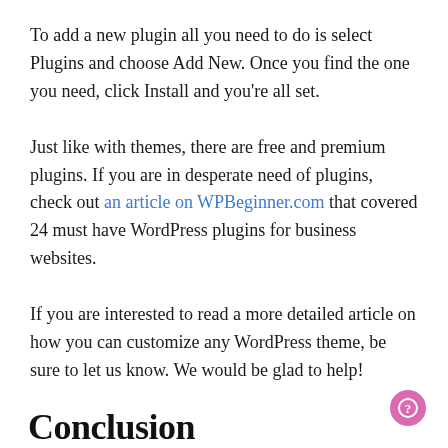To add a new plugin all you need to do is select Plugins and choose Add New. Once you find the one you need, click Install and you're all set.
Just like with themes, there are free and premium plugins. If you are in desperate need of plugins, check out an article on WPBeginner.com that covered 24 must have WordPress plugins for business websites.
If you are interested to read a more detailed article on how you can customize any WordPress theme, be sure to let us know. We would be glad to help!
Conclusion